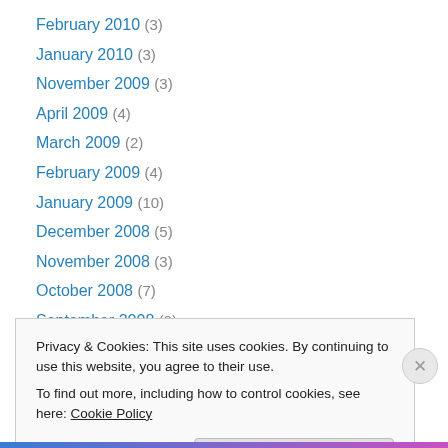February 2010 (3)
January 2010 (3)
November 2009 (3)
April 2009 (4)
March 2009 (2)
February 2009 (4)
January 2009 (10)
December 2008 (5)
November 2008 (3)
October 2008 (7)
September 2008 (9)
August 2008 (1)
June 2008 (2)
Privacy & Cookies: This site uses cookies. By continuing to use this website, you agree to their use. To find out more, including how to control cookies, see here: Cookie Policy
Close and accept